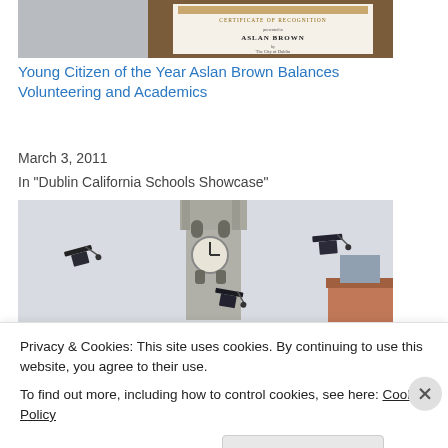[Figure (photo): Partial photo showing a person holding a Certificate of Recognition award with text 'Aslan Brown' and 'The City of Dublin']
Young Citizen of the Year Aslan Brown Balances Volunteering and Academics
March 3, 2011
In "Dublin California Schools Showcase"
[Figure (photo): Graduation photo showing mortarboards being tossed in the air in front of a clock tower building]
Privacy & Cookies: This site uses cookies. By continuing to use this website, you agree to their use.
To find out more, including how to control cookies, see here: Cookie Policy